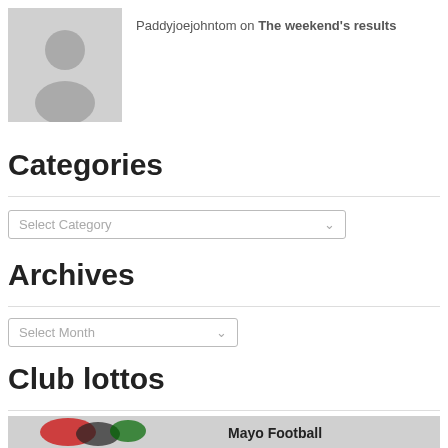Paddyjoejohntom on The weekend's results
Categories
Select Category
Archives
Select Month
Club lottos
[Figure (illustration): Mayo Football banner with club crests and figures]